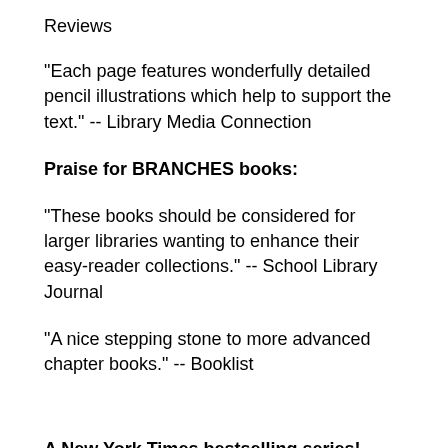Reviews
"Each page features wonderfully detailed pencil illustrations which help to support the text." -- Library Media Connection
Praise for BRANCHES books:
"These books should be considered for larger libraries wanting to enhance their easy-reader collections." -- School Library Journal
"A nice stepping stone to more advanced chapter books." -- Booklist
A New York Times bestselling series!
Praise for Rise of the Earth Dragon (Dragon Masters #1):
"In this first of the Dragon Masters series, vocabulary is accessible; sentences, paragraphs, and chapters are short; and